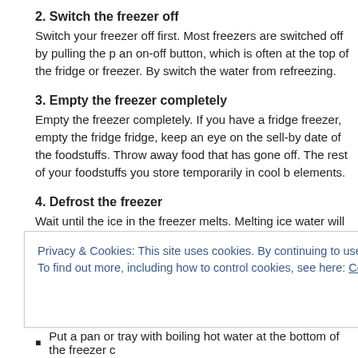2. Switch the freezer off
Switch your freezer off first. Most freezers are switched off by pulling the p an on-off button, which is often at the top of the fridge or freezer. By switch the water from refreezing.
3. Empty the freezer completely
Empty the freezer completely. If you have a fridge freezer, empty the fridge fridge, keep an eye on the sell-by date of the foodstuffs. Throw away food that has gone off. The rest of your foodstuffs you store temporarily in cool b elements.
4. Defrost the freezer
Wait until the ice in the freezer melts. Melting ice water will find its way out rubber hose at the bottom of the freezer. Capture the ice water from the ru towel in front of the freezer to absorb any extra water. This prevents water defrosting the freezer compartment of the fridge, put the towel in the freeze melted ice water from ending up in the rest of the fridge.
Privacy & Cookies: This site uses cookies. By continuing to use this website, you agree to their use. To find out more, including how to control cookies, see here: Cookie Policy
Put a pan or tray with boiling hot water at the bottom of the freezer c